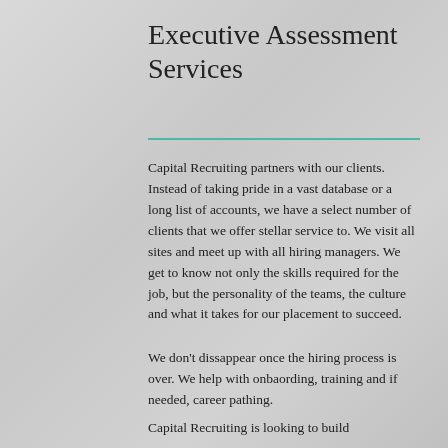Executive Assessment Services
Capital Recruiting partners with our clients. Instead of taking pride in a vast database or a long list of accounts, we have a select number of clients that we offer stellar service to. We visit all sites and meet up with all hiring managers. We get to know not only the skills required for the job, but the personality of the teams, the culture and what it takes for our placement to succeed.
We don't dissappear once the hiring process is over. We help with onbaording, training and if needed, career pathing.
Capital Recruiting is looking to build